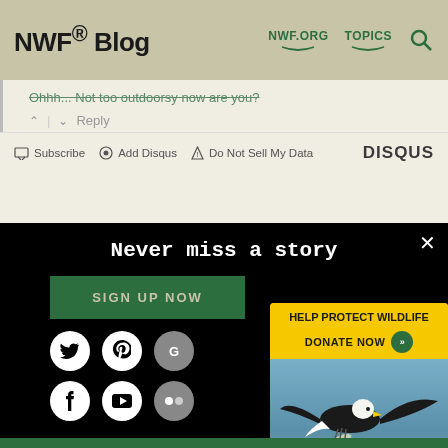NWF® Blog | NWF.ORG | TOPICS
Ohhh... Not too outdoorsy now are you?
Reply
Subscribe | Add Disqus | Do Not Sell My Data | DISQUS
Never miss a story
SIGN UP NOW
[Figure (screenshot): Social media icon buttons (Twitter, Pinterest, Google, Facebook, YouTube, Flickr) in white/gray circles on black background]
[Figure (infographic): Yellow advertisement box: HELP PROTECT WILDLIFE / DONATE NOW with arrow button, showing bald eagle catching fish image]